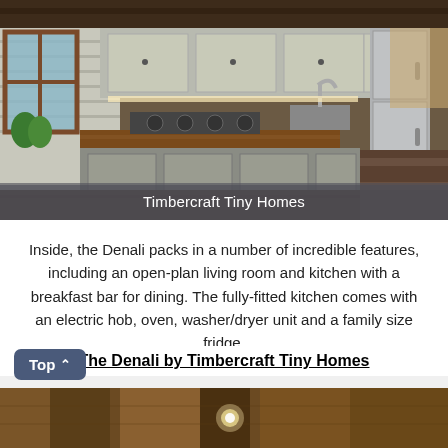[Figure (photo): Interior photo of a tiny home kitchen by Timbercraft Tiny Homes showing wooden countertops, stainless steel appliances, white shiplap walls, open cabinets, and a staircase visible in the background.]
Timbercraft Tiny Homes
Inside, the Denali packs in a number of incredible features, including an open-plan living room and kitchen with a breakfast bar for dining. The fully-fitted kitchen comes with an electric hob, oven, washer/dryer unit and a family size fridge.
The Denali by Timbercraft Tiny Homes
[Figure (photo): Partial view of a wooden ceiling interior of a tiny home, with warm brown tones and a recessed light visible.]